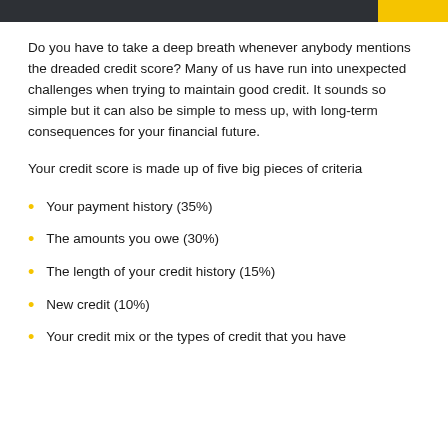Do you have to take a deep breath whenever anybody mentions the dreaded credit score? Many of us have run into unexpected challenges when trying to maintain good credit. It sounds so simple but it can also be simple to mess up, with long-term consequences for your financial future.
Your credit score is made up of five big pieces of criteria
Your payment history (35%)
The amounts you owe (30%)
The length of your credit history (15%)
New credit (10%)
Your credit mix or the types of credit that you have